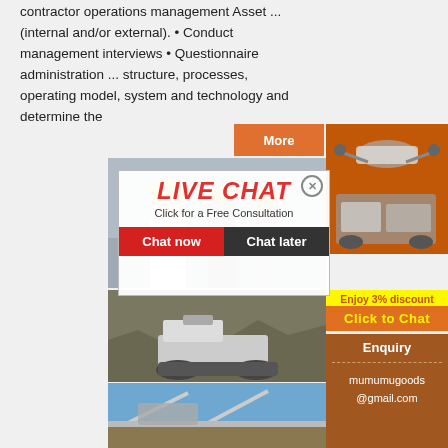contractor operations management Asset ... (internal and/or external). • Conduct management interviews • Questionnaire administration ... structure, processes, operating model, system and technology and determine the
[Figure (screenshot): Orange 'More' button and right side orange panel with industrial machinery images]
[Figure (photo): Workers in yellow hard hats with live chat popup overlay showing 'LIVE CHAT - Click for a Free Consultation' with Chat now and Chat later buttons]
[Figure (photo): Mining/crushing machine equipment in rocky terrain]
[Figure (screenshot): Yellow banner with 'Enjoy 3% discount' and orange 'Click to Chat' button]
[Figure (screenshot): Brown enquiry box with text 'Enquiry' and contact email 'mumumugoods@gmail.com']
[Figure (photo): Industrial machinery/conveyor system against blue sky]